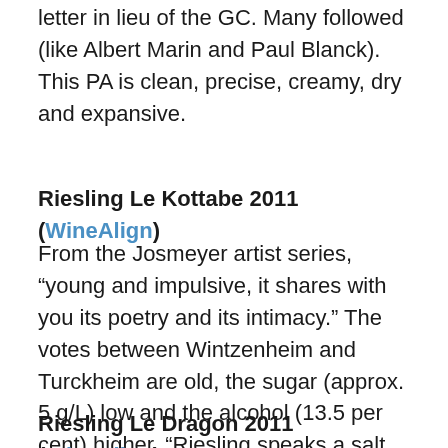letter in lieu of the GC. Many followed (like Albert Marin and Paul Blanck). This PA is clean, precise, creamy, dry and expansive.
Riesling Le Kottabe 2011 (WineAlign)
From the Josmeyer artist series, “young and impulsive, it shares with you its poetry and its intimacy.” The votes between Wintzenheim and Turckheim are old, the sugar (approx. 5 g/L) low and the alcohol (13.5 per cent) higher. “Riesling speaks a salt language that expresses terroir,” says Ehrhart, “as much as a fingerprint.” This has more full-bodied heft as compared to 2010, more muscle, more girth. Shells and a spritz of citrus mark this salt lick of a Riesling, spread evenly, in a chalky sprinkling throughout.
Riesling Le Dragon 2011 (WineAlign)